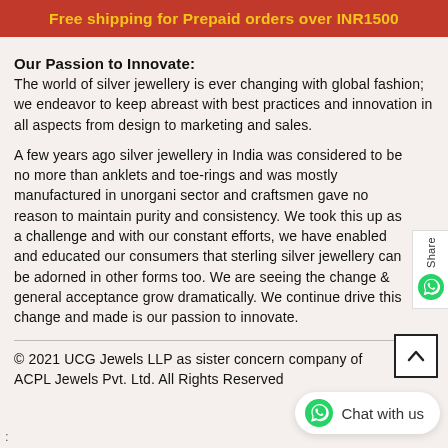Free shipping for Prepaid orders over INR1500
Our Passion to Innovate:
The world of silver jewellery is ever changing with global fashion; we endeavor to keep abreast with best practices and innovation in all aspects from design to marketing and sales.
A few years ago silver jewellery in India was considered to be no more than anklets and toe-rings and was mostly manufactured in unorgani sector and craftsmen gave no reason to maintain purity and consistency. We took this up as a challenge and with our constant efforts, we have enabled and educated our consumers that sterling silver jewellery can be adorned in other forms too. We are seeing the change & general acceptance grow dramatically. We continue drive this change and made is our passion to innovate.
© 2021 UCG Jewels LLP as sister concern company of ACPL Jewels Pvt. Ltd. All Rights Reserved